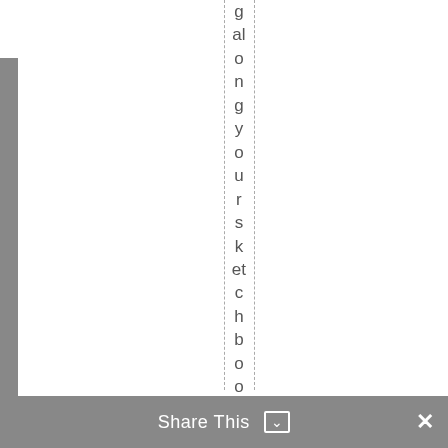g al o n g y o u r s k et c h b o o k s, p e n ci
Share This ∨   ×